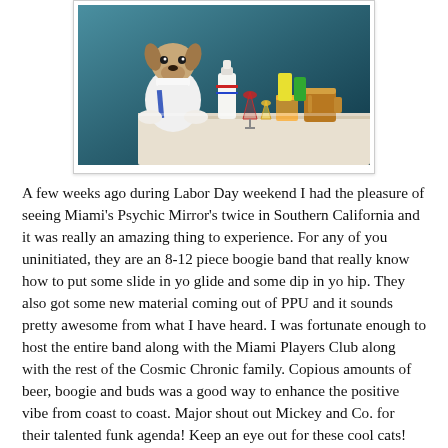[Figure (photo): A photo of a dog dressed in white waiter's uniform with a blue sash, sitting at a table with various cocktail glasses, bottles, and drinks arranged in front of it against a teal/dark blue background.]
A few weeks ago during Labor Day weekend I had the pleasure of seeing Miami's Psychic Mirror's twice in Southern California and it was really an amazing thing to experience. For any of you uninitiated, they are an 8-12 piece boogie band that really know how to put some slide in yo glide and some dip in yo hip. They also got some new material coming out of PPU and it sounds pretty awesome from what I have heard. I was fortunate enough to host the entire band along with the Miami Players Club along with the rest of the Cosmic Chronic family. Copious amounts of beer, boogie and buds was a good way to enhance the positive vibe from coast to coast. Major shout out Mickey and Co. for their talented funk agenda! Keep an eye out for these cool cats!
I recently acquired this piece of Italo history in a truth telling contest two towns over. It is very uncommon to come across